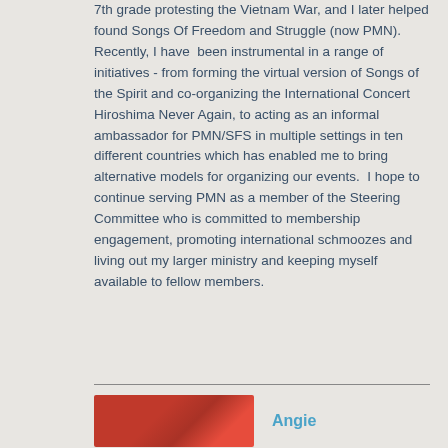7th grade protesting the Vietnam War, and I later helped found Songs Of Freedom and Struggle (now PMN). Recently, I have  been instrumental in a range of initiatives - from forming the virtual version of Songs of the Spirit and co-organizing the International Concert Hiroshima Never Again, to acting as an informal ambassador for PMN/SFS in multiple settings in ten different countries which has enabled me to bring alternative models for organizing our events.  I hope to continue serving PMN as a member of the Steering Committee who is committed to membership engagement, promoting international schmoozes and living out my larger ministry and keeping myself available to fellow members.
[Figure (photo): Partial photo of a person, cropped at bottom of page]
Angie